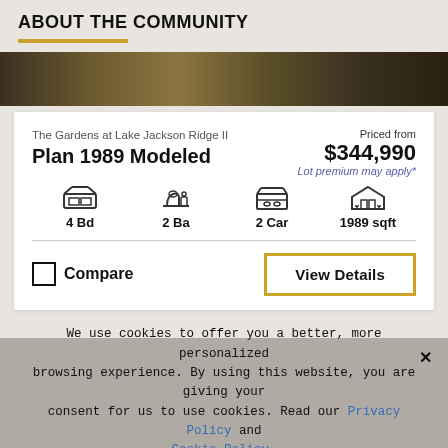ABOUT THE COMMUNITY
[Figure (photo): Exterior photograph of a residential community, dark brown tones]
The Gardens at Lake Jackson Ridge II
Plan 1989 Modeled
Priced from $344,990 Lot premium may apply*
4 Bd   2 Ba   2 Car   1989 sqft
Compare
View Details
SEE ALL FLOOR PLANS FOR THIS COMMUNITY
We use cookies to offer you a better, more personalized browsing experience. By using this website, you are giving your consent for us to use cookies. Read our Privacy Policy and Cookie Policy.